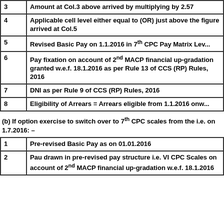| Col | Description |
| --- | --- |
| 3 | Amount at Col.3 above arrived by multiplying by 2.57 |
| 4 | Applicable cell level either equal to (OR) just above the figure arrived at Col.5 |
| 5 | Revised Basic Pay on 1.1.2016 in 7th CPC Pay Matrix Lev... |
| 6 | Pay fixation on account of 2nd MACP financial up-gradation granted w.e.f. 18.1.2016 as per Rule 13 of CCS (RP) Rules, 2016 |
| 7 | DNI as per Rule 9 of CCS (RP) Rules, 2016 |
| 8 | Eligibility of Arrears = Arrears eligible from 1.1.2016 onw... |
(b) If option exercise to switch over to 7th CPC scales from the i.e. on 1.7.2016: –
| Col | Description |
| --- | --- |
| 1 | Pre-revised Basic Pay as on 01.01.2016 |
| 2 | Pau drawn in pre-revised pay structure i.e. VI CPC Scales on account of 2nd MACP financial up-gradation w.e.f. 18.1.2016 |